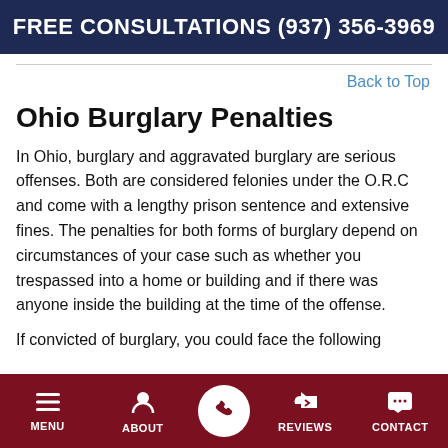FREE CONSULTATIONS (937) 356-3969
Back to Top
Ohio Burglary Penalties
In Ohio, burglary and aggravated burglary are serious offenses. Both are considered felonies under the O.R.C and come with a lengthy prison sentence and extensive fines. The penalties for both forms of burglary depend on circumstances of your case such as whether you trespassed into a home or building and if there was anyone inside the building at the time of the offense.
If convicted of burglary, you could face the following
MENU | ABOUT | (phone) | REVIEWS | CONTACT